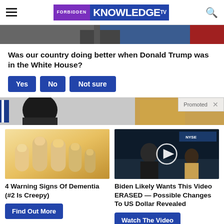Forbidden Knowledge TV
[Figure (photo): Cropped photo of a person in a suit, possibly at a podium, with flags in the background]
Was our country doing better when Donald Trump was in the White House?
[Figure (photo): Two cropped photos side by side: left shows a person with dark hair, right shows a person in an ornate room. A 'Promoted X' badge appears in the top right.]
[Figure (photo): Close-up of fingertips/nails with yellowish discoloration]
4 Warning Signs Of Dementia (#2 Is Creepy)
[Figure (screenshot): Video thumbnail showing a man at a news desk with NYSE display in background, with a play button overlay]
Biden Likely Wants This Video ERASED — Possible Changes To US Dollar Revealed